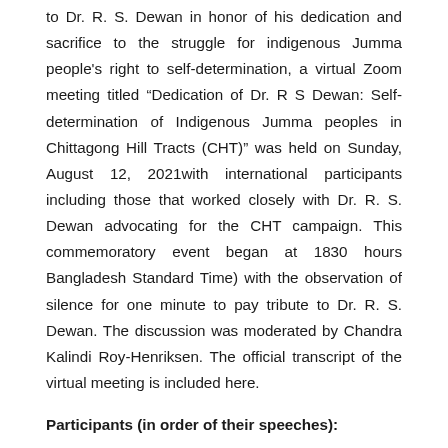to Dr. R. S. Dewan in honor of his dedication and sacrifice to the struggle for indigenous Jumma people's right to self-determination, a virtual Zoom meeting titled “Dedication of Dr. R S Dewan: Self-determination of Indigenous Jumma peoples in Chittagong Hill Tracts (CHT)” was held on Sunday, August 12, 2021with international participants including those that worked closely with Dr. R. S. Dewan advocating for the CHT campaign. This commemoratory event began at 1830 hours Bangladesh Standard Time) with the observation of silence for one minute to pay tribute to Dr. R. S. Dewan. The discussion was moderated by Chandra Kalindi Roy-Henriksen. The official transcript of the virtual meeting is included here.
Participants (in order of their speeches):
Priti Bindu Chakma, Human Rights Activist, Canada